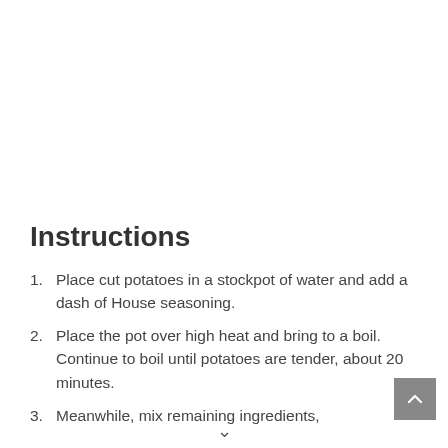Instructions
Place cut potatoes in a stockpot of water and add a dash of House seasoning.
Place the pot over high heat and bring to a boil. Continue to boil until potatoes are tender, about 20 minutes.
Meanwhile, mix remaining ingredients,